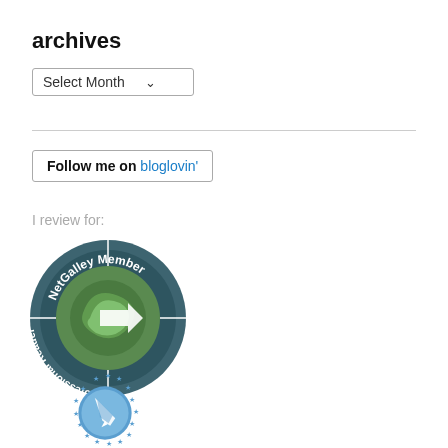archives
Select Month
Follow me on bloglovin'
I review for:
[Figure (logo): NetGalley Member Professional Reader circular badge with green swirl logo on teal/dark background]
[Figure (logo): Blue circular badge with pen/quill icon and ring of blue stars around it, partially visible]